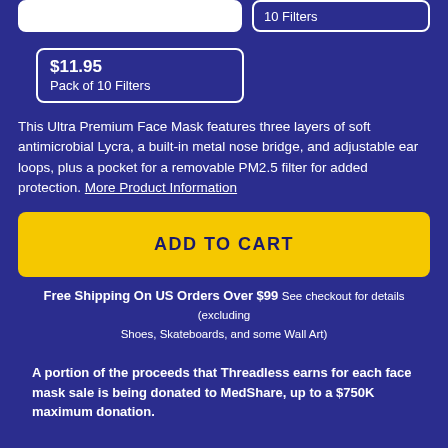10 Filters
$11.95
Pack of 10 Filters
This Ultra Premium Face Mask features three layers of soft antimicrobial Lycra, a built-in metal nose bridge, and adjustable ear loops, plus a pocket for a removable PM2.5 filter for added protection. More Product Information
ADD TO CART
Free Shipping On US Orders Over $99 See checkout for details (excluding Shoes, Skateboards, and some Wall Art)
A portion of the proceeds that Threadless earns for each face mask sale is being donated to MedShare, up to a $750K maximum donation.
About the Design